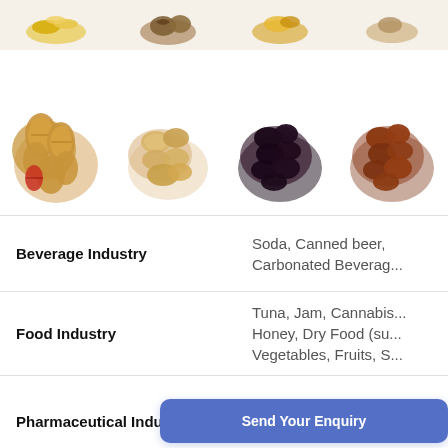[Figure (photo): Top strip showing dried fruits, nuts, and food items including banana chips, walnuts, corn/grains, and other foods in the top row, and peanuts, mixed nuts, black raisins/prunes, and brown raisins in the main photo row]
| Industry | Products |
| --- | --- |
| Beverage Industry | Soda, Canned beer, Carbonated Beverag... |
| Food Industry | Tuna, Jam, Cannabis... Honey, Dry Food (su... Vegetables, Fruits, S... |
| Pharmaceutical Industry | [Send Your Enquiry button] |
| Chemical Industry | Nuclear was... ra... Fluids (petr... an... lacquers, Cle... g lic... |